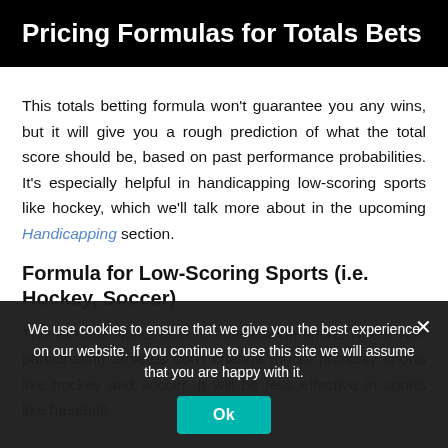Pricing Formulas for Totals Bets
This totals betting formula won't guarantee you any wins, but it will give you a rough prediction of what the total score should be, based on past performance probabilities. It's especially helpful in handicapping low-scoring sports like hockey, which we'll talk more about in the upcoming Handicapping section.
Formula for Low-Scoring Sports (i.e. Hockey, Soccer)
This formula works best for low-scoring sports where with participating athletes don't change much; primarily sports like hockey and soccer. It will be less effective in sports like baseball,
We use cookies to ensure that we give you the best experience on our website. If you continue to use this site we will assume that you are happy with it.